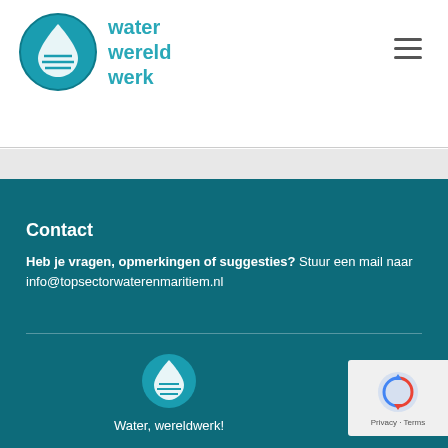[Figure (logo): Water Wereldwerk logo: circular blue icon with water drop and horizontal lines, accompanied by text 'water wereld werk' in teal]
Contact
Heb je vragen, opmerkingen of suggesties? Stuur een mail naar info@topsectorwaterenmaritiem.nl
[Figure (logo): Water Wereldwerk footer logo: smaller circular teal icon with water drop]
Water, wereldwerk!
[Figure (logo): reCAPTCHA badge with Google logo and Privacy / Terms links]